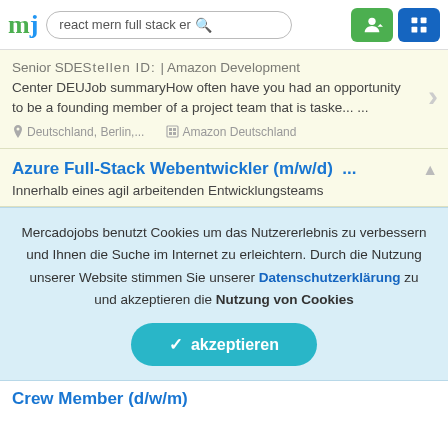mj | react mern full stack er [search]
Senior SDE Stellen ID: | Amazon Development Center DEUJob summaryHow often have you had an opportunity to be a founding member of a project team that is taske... ...
Deutschland, Berlin,...   Amazon Deutschland
Azure Full-Stack Webentwickler (m/w/d) ...
Innerhalb eines agil arbeitenden Entwicklungsteams
Mercadojobs benutzt Cookies um das Nutzererlebnis zu verbessern und Ihnen die Suche im Internet zu erleichtern. Durch die Nutzung unserer Website stimmen Sie unserer Datenschutzerklärung zu und akzeptieren die Nutzung von Cookies
✓ akzeptieren
Crew Member (d/w/m)